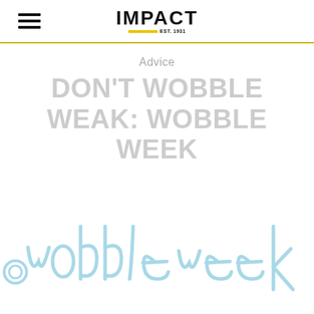IMPACT EST. 1931
Advice
DON'T WOBBLE WEAK: WOBBLE WEEK
[Figure (illustration): Light blue handwritten-style cursive text reading 'wobble week' with a decorative illustration, partially cropped at the bottom of the page]